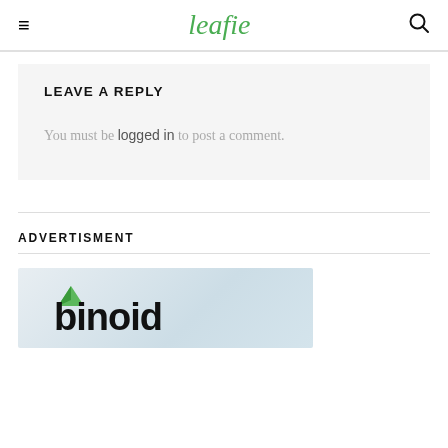leafie
LEAVE A REPLY
You must be logged in to post a comment.
ADVERTISMENT
[Figure (logo): Binoid brand logo on a light grey/blue gradient background]